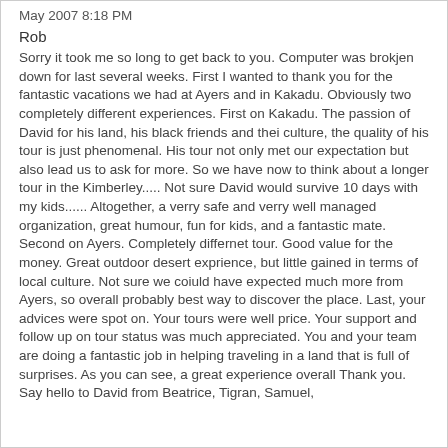May 2007 8:18 PM
Rob
Sorry it took me so long to get back to you. Computer was brokjen down for last several weeks. First I wanted to thank you for the fantastic vacations we had at Ayers and in Kakadu. Obviously two completely different experiences. First on Kakadu. The passion of David for his land, his black friends and thei culture, the quality of his tour is just phenomenal. His tour not only met our expectation but also lead us to ask for more. So we have now to think about a longer tour in the Kimberley..... Not sure David would survive 10 days with my kids...... Altogether, a verry safe and verry well managed organization, great humour, fun for kids, and a fantastic mate. Second on Ayers. Completely differnet tour. Good value for the money. Great outdoor desert exprience, but little gained in terms of local culture. Not sure we coiuld have expected much more from Ayers, so overall probably best way to discover the place. Last, your advices were spot on. Your tours were well price. Your support and follow up on tour status was much appreciated. You and your team are doing a fantastic job in helping traveling in a land that is full of surprises. As you can see, a great experience overall Thank you. Say hello to David from Beatrice, Tigran, Samuel,